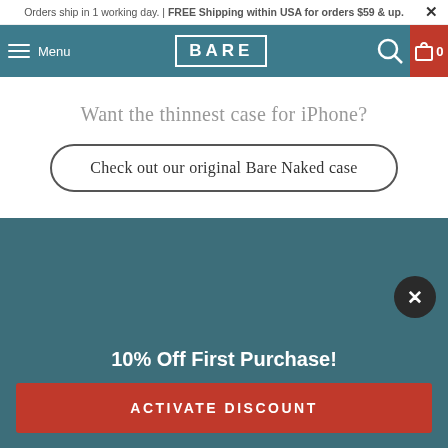Orders ship in 1 working day. | FREE Shipping within USA for orders $59 & up.
[Figure (screenshot): Navigation bar with hamburger menu, Menu label, BARE logo in bordered box, search icon, and shopping cart icon with red background and 0 count]
Want the thinnest case for iPhone?
Check out our original Bare Naked case
[Figure (infographic): Dark teal background section with a close/X button circle on the right side]
10% Off First Purchase!
ACTIVATE DISCOUNT